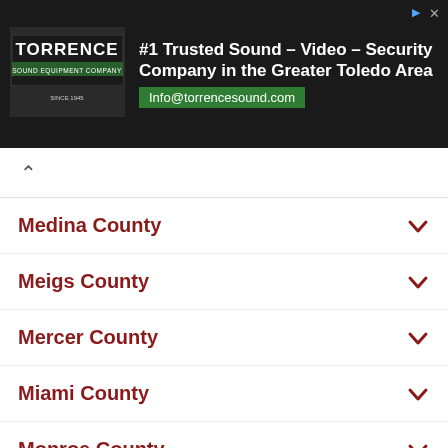[Figure (screenshot): Torrence Sound Equipment Company advertisement banner. Text: #1 Trusted Sound – Video – Security Company in the Greater Toledo Area. Info@torrencesound.com]
Medina County
Meigs County
Mercer County
Miami County
Monroe County
Montgomery County
Morgan County
Morrow County
Muskingum County
Noble County